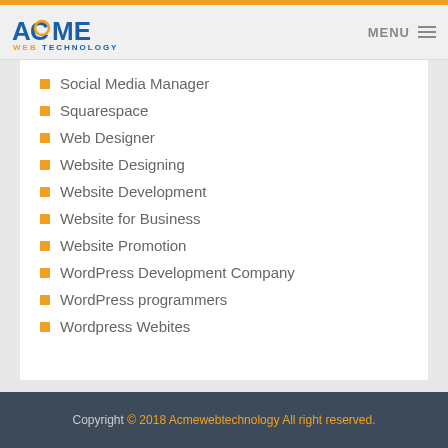ACME WEB TECHNOLOGY — MENU
Social Media Manager
Squarespace
Web Designer
Website Designing
Website Development
Website for Business
Website Promotion
WordPress Development Company
WordPress programmers
Wordpress Webites
Copyright © 2018 Acmewebtechnology All right reserved.